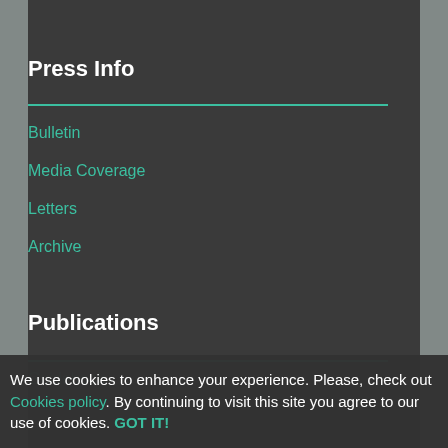Press Info
Bulletin
Media Coverage
Letters
Archive
Publications
Guidebook
We use cookies to enhance your experience. Please, check out Cookies policy. By continuing to visit this site you agree to our use of cookies. GOT IT!